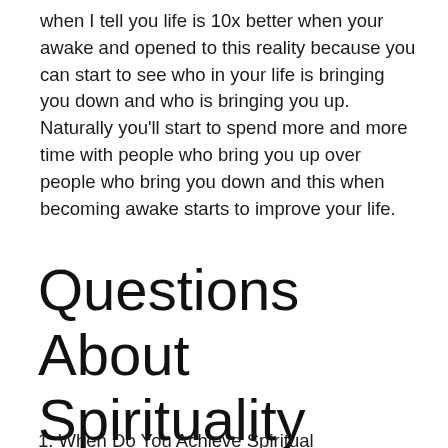when I tell you life is 10x better when your awake and opened to this reality because you can start to see who in your life is bringing you down and who is bringing you up. Naturally you'll start to spend more and more time with people who bring you up over people who bring you down and this when becoming awake starts to improve your life.
Questions About Spirituality
1. When Do You Achieve Spiritual